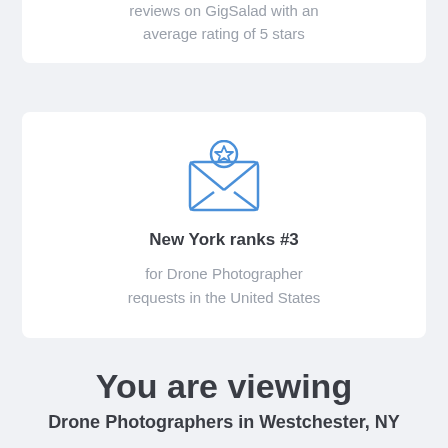reviews on GigSalad with an average rating of 5 stars
[Figure (illustration): Blue line-art envelope icon with a star badge on top, open envelope showing letter inside]
New York ranks #3
for Drone Photographer requests in the United States
You are viewing
Drone Photographers in Westchester, NY